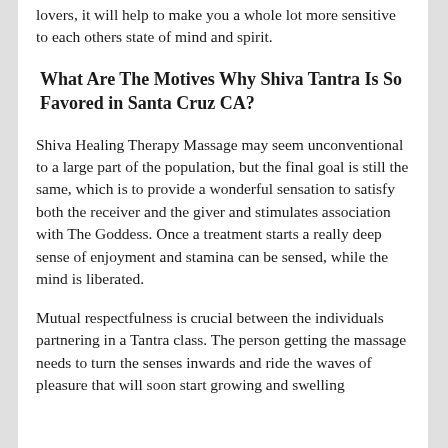lovers, it will help to make you a whole lot more sensitive to each others state of mind and spirit.
What Are The Motives Why Shiva Tantra Is So Favored in Santa Cruz CA?
Shiva Healing Therapy Massage may seem unconventional to a large part of the population, but the final goal is still the same, which is to provide a wonderful sensation to satisfy both the receiver and the giver and stimulates association with The Goddess. Once a treatment starts a really deep sense of enjoyment and stamina can be sensed, while the mind is liberated.
Mutual respectfulness is crucial between the individuals partnering in a Tantra class. The person getting the massage needs to turn the senses inwards and ride the waves of pleasure that will soon start growing and swelling